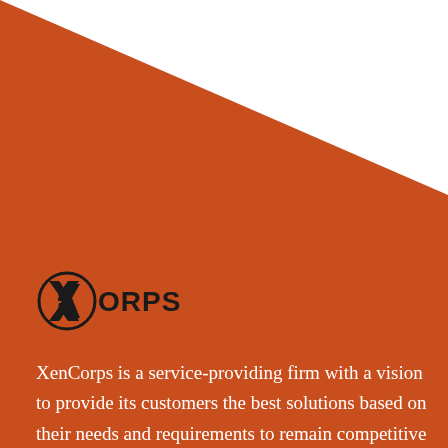[Figure (logo): XenCorps logo: circle with stylized X chevron shape inside, text 'ORPS' to the right in bold black sans-serif]
XenCorps is a service-providing firm with a vision to provide its customers the best solutions based on their needs and requirements to remain competitive in the market.